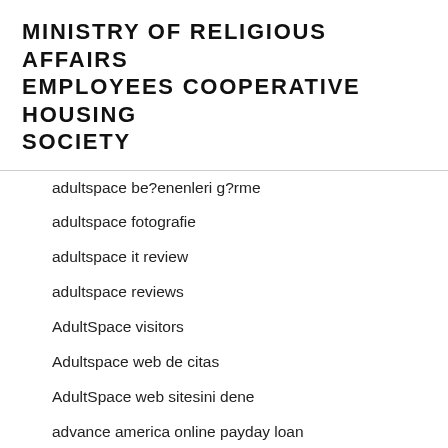MINISTRY OF RELIGIOUS AFFAIRS EMPLOYEES COOPERATIVE HOUSING SOCIETY
adultspace be?enenleri g?rme
adultspace fotografie
adultspace it review
adultspace reviews
AdultSpace visitors
Adultspace web de citas
AdultSpace web sitesini dene
advance america online payday loan
advance payday loan
advance payday loans